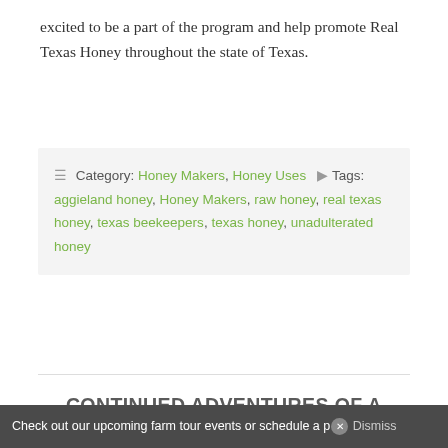excited to be a part of the program and help promote Real Texas Honey throughout the state of Texas.
Category: Honey Makers, Honey Uses   Tags: aggieland honey, Honey Makers, raw honey, real texas honey, texas beekeepers, texas honey, unadulterated honey
CONTINUED ADVENTURES OF A GROWING APIARY
Posted on September 24, 2018 by primebees
Leave a Comment
Check out our upcoming farm tour events or schedule a p... Dismiss